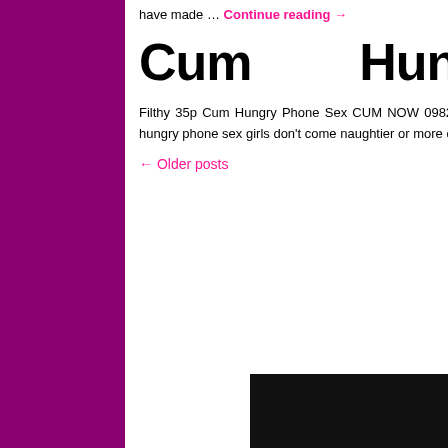have made … Continue reading →
Cum Hungry Phone Sex Girls
Filthy 35p Cum Hungry Phone Sex CUM NOW 0982 505 3777 (Call cost 35p per minute + your phone companys access charge) Cum hungry phone sex girls don't come naughtier or more deprived than ours. All the cum hungry phone … Continue reading →
← Older posts
Sex Chat Posts